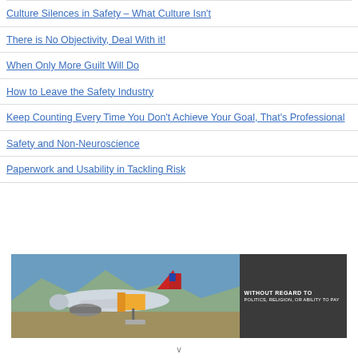Culture Silences in Safety – What Culture Isn't
There is No Objectivity, Deal With it!
When Only More Guilt Will Do
How to Leave the Safety Industry
Keep Counting Every Time You Don't Achieve Your Goal, That's Professional
Safety and Non-Neuroscience
Paperwork and Usability in Tackling Risk
[Figure (photo): A photo of an airplane being loaded with cargo with text overlay 'WITHOUT REGARD TO POLITICS, RELIGION, OR ABILITY TO PAY']